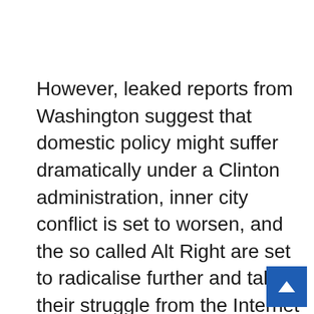However, leaked reports from Washington suggest that domestic policy might suffer dramatically under a Clinton administration, inner city conflict is set to worsen, and the so called Alt Right are set to radicalise further and take their struggle from the Internet onto the streets.  The last 18 months have seen America riddled with violence, civil unrest and unease. Distrust in mainstream politics has given birth to a new beast, one which has not only grown a socially acceptable face, but appears now to